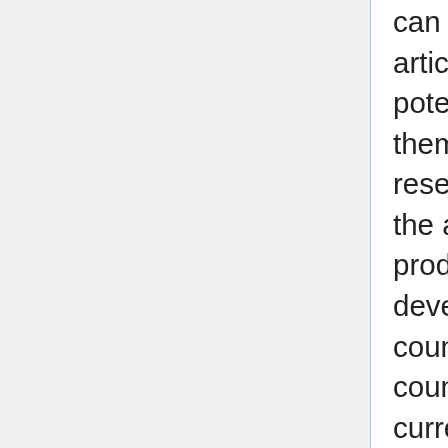can see both why researchers give away their articles and why it is so important that all their potential users should be able to access and use them. Because all access-barriers are barriers to research progress and its benefits (as well as to the advancement of researchers' careers and productivity)....There is no need, however, for developing countries to wait for the developed countries to mandate self-archiving. Developing countries have even more to gain...because currently both their access and their impact is disproportionately low, relative to their actual and potential research productivity."